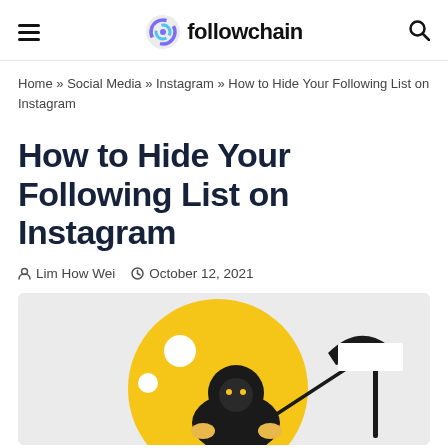followchain
Home » Social Media » Instagram » How to Hide Your Following List on Instagram
How to Hide Your Following List on Instagram
Lim How Wei   October 12, 2021
[Figure (illustration): Illustration of a grim reaper figure in dark hood holding a scythe, standing in front of a large yellow circle with white dots, on a light grey background. A white signpost is visible to the right.]